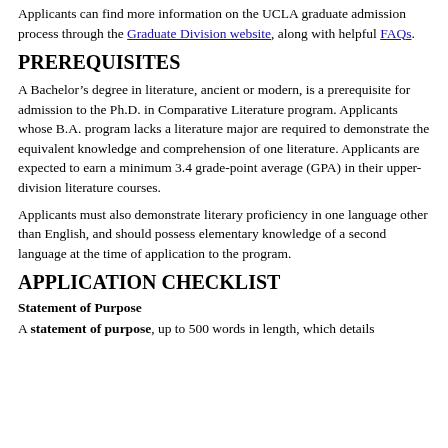Applicants can find more information on the UCLA graduate admission process through the Graduate Division website, along with helpful FAQs.
PREREQUISITES
A Bachelor’s degree in literature, ancient or modern, is a prerequisite for admission to the Ph.D. in Comparative Literature program. Applicants whose B.A. program lacks a literature major are required to demonstrate the equivalent knowledge and comprehension of one literature. Applicants are expected to earn a minimum 3.4 grade-point average (GPA) in their upper-division literature courses.
Applicants must also demonstrate literary proficiency in one language other than English, and should possess elementary knowledge of a second language at the time of application to the program.
APPLICATION CHECKLIST
Statement of Purpose
A statement of purpose, up to 500 words in length, which details